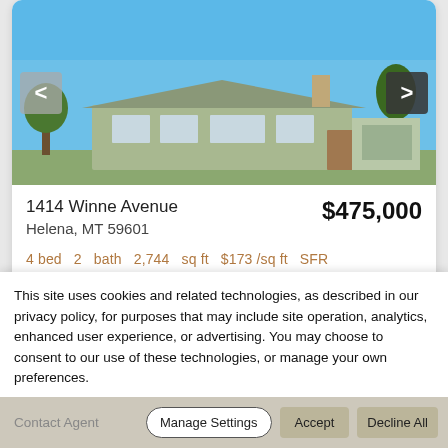[Figure (photo): Exterior photo of a single-family ranch home at 1414 Winne Avenue, Helena MT, with blue sky background, green trees, and green siding.]
1414 Winne Avenue
Helena, MT 59601
$475,000
4 bed  2  bath  2,744  sq ft  $173 /sq ft  SFR
Sold Homes
This site uses cookies and related technologies, as described in our privacy policy, for purposes that may include site operation, analytics, enhanced user experience, or advertising. You may choose to consent to our use of these technologies, or manage your own preferences.